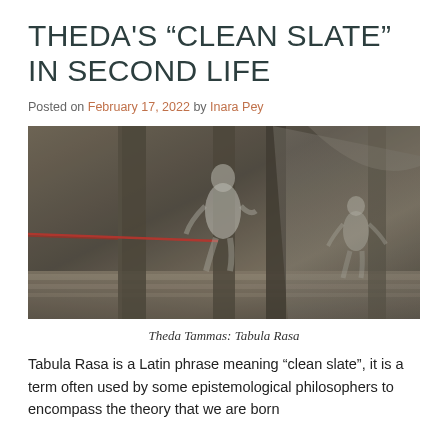THEDA’S “CLEAN SLATE” IN SECOND LIFE
Posted on February 17, 2022 by Inara Pey
[Figure (photo): A virtual world scene from Second Life showing two humanoid ghost-like figures in a dimly lit, industrial environment with stone columns and draped fabric. A red rope/wire is visible on the left side.]
Theda Tammas: Tabula Rasa
Tabula Rasa is a Latin phrase meaning “clean slate”, it is a term often used by some epistemological philosophers to encompass the theory that we are born